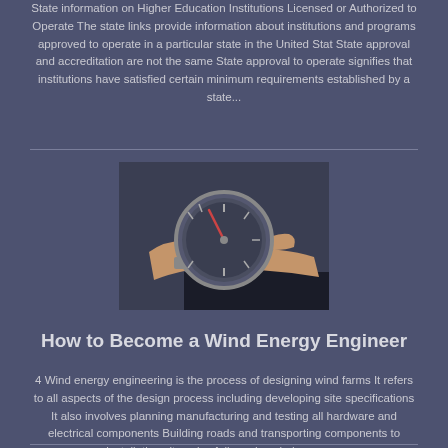State Information on Higher Education Institutions Licensed or Authorized to Operate The state links provide information about institutions and programs approved to operate in a particular state in the United Stat State approval and accreditation are not the same State approval to operate signifies that institutions have satisfied certain minimum requirements established by a state...
[Figure (photo): A hand holding a round gauge or dial instrument, positioned over what appears to be a dark flat surface]
How to Become a Wind Energy Engineer
4 Wind energy engineering is the process of designing wind farms It refers to all aspects of the design process including developing site specifications It also involves planning manufacturing and testing all hardware and electrical components Building roads and transporting components to installation sites also falls under wind energy...